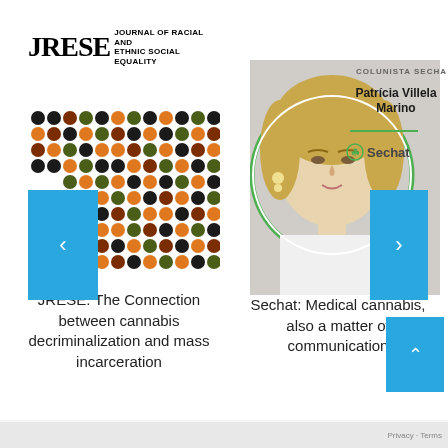[Figure (logo): JRESE Journal of Racial and Ethnic Social Equality logo]
[Figure (illustration): Grid of colored dots in black, orange, dark red, and green patterns representing diversity data]
[Figure (photo): Photo of Patricia Villela Marino, columnist for Sechat medical cannabis platform, with circular crop and green border]
COLUNISTA SECHA
Patrícia Villela Marino
JRESE: The Connection between cannabis decriminalization and mass incarceration
Sechat: Medical cannabis, also a matter of communication
Privacy · Terms